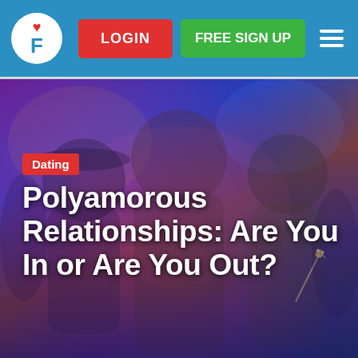Navigation bar with logo (heart + F), LOGIN button, FREE SIGN UP button, hamburger menu
[Figure (photo): Photo of three smiling people at an outdoor party or festival. Center: a woman with long dark hair in a ponytail pointing at camera. Left: a man with a beard and backwards cap. Right: a blonde woman. Background has purple/blue party lights and bokeh. A sparkler is visible on the right side.]
Dating
Polyamorous Relationships: Are You In or Are You Out?